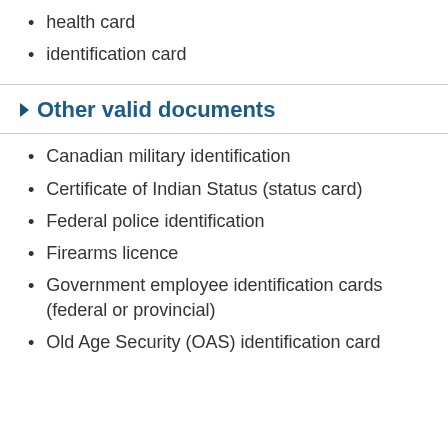health card
identification card
Other valid documents
Canadian military identification
Certificate of Indian Status (status card)
Federal police identification
Firearms licence
Government employee identification cards (federal or provincial)
Old Age Security (OAS) identification card